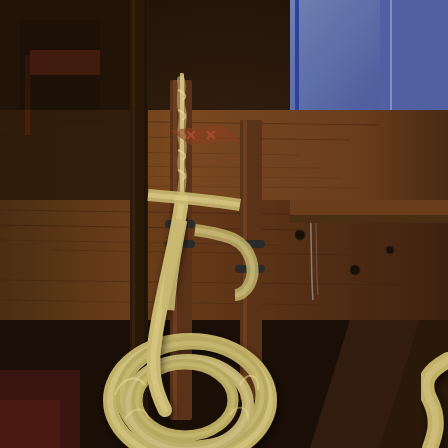[Figure (photo): Close-up photograph of thick twisted hemp ropes coiled and hanging on wooden cleats or pins mounted on a weathered dark wooden ship's side or rail. The ropes are yellowish-tan in color, tightly twisted in a traditional three-strand maritime style. The wooden structure behind is aged and dark brown, with metal bolt heads visible. In the upper right, a blue surface is partially visible. The scene suggests a historic sailing vessel or maritime museum display.]